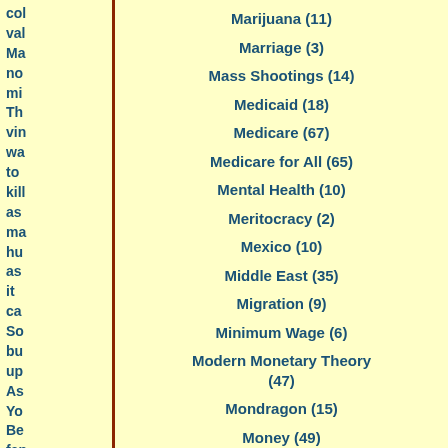col
val
Ma
no
mi
Th
vin
wa
to
kill
as
ma
hu
as
it
ca
So
bu
up
As
Yo
Be
fan
Marijuana (11)
Marriage (3)
Mass Shootings (14)
Medicaid (18)
Medicare (67)
Medicare for All (65)
Mental Health (10)
Meritocracy (2)
Mexico (10)
Middle East (35)
Migration (9)
Minimum Wage (6)
Modern Monetary Theory (47)
Mondragon (15)
Money (49)